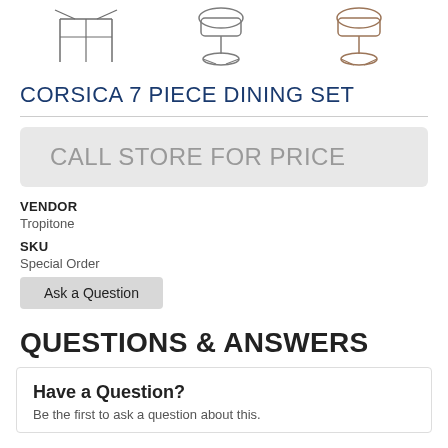[Figure (photo): Three product images of outdoor dining chairs/sets shown at top of page]
CORSICA 7 PIECE DINING SET
CALL STORE FOR PRICE
VENDOR
Tropitone
SKU
Special Order
Ask a Question
QUESTIONS & ANSWERS
Have a Question?
Be the first to ask a question about this.